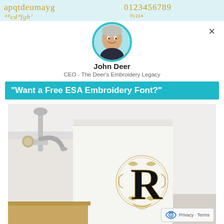[Figure (illustration): Top banner with gold cursive embroidery font text: 'apqtdeumayg' on left and '0123456789' on right, on light aqua background]
×
[Figure (photo): Circular profile photo of John Deer, a middle-aged man with grey hair, smiling, wearing a dark blazer, inside a teal/cyan circular border]
John Deer
CEO - The Deer's Embroidery Legacy
"Want a Free ESA Embroidery Font?"
[Figure (photo): Photo of a white fluffy towel draped over a bathtub edge next to a chrome faucet, with an ornate embroidered letter R monogram in black and gold on the towel]